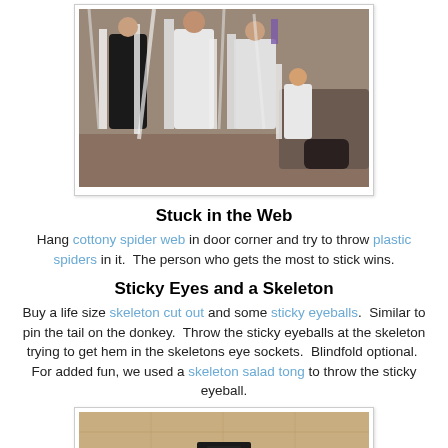[Figure (photo): Group of people wrapped in white toilet paper or cloth streamers, standing in a room]
Stuck in the Web
Hang cottony spider web in door corner and try to throw plastic spiders in it.  The person who gets the most to stick wins.
Sticky Eyes and a Skeleton
Buy a life size skeleton cut out and some sticky eyeballs.  Similar to pin the tail on the donkey.  Throw the sticky eyeballs at the skeleton trying to get hem in the skeletons eye sockets.  Blindfold optional.  For added fun, we used a skeleton salad tong to throw the sticky eyeball.
[Figure (photo): Photo of a skeleton cut out on a wall or board]